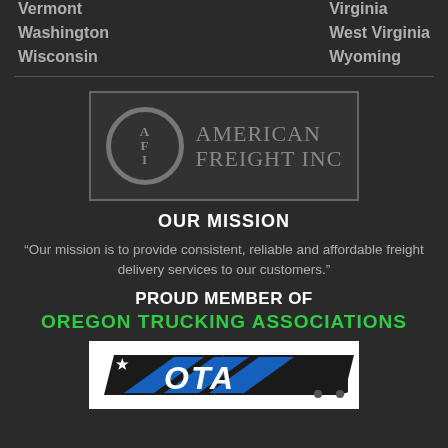Vermont
Virginia
Washington
West Virginia
Wisconsin
Wyoming
[Figure (logo): American Freight Inc logo with AFI circular emblem and text]
OUR MISSION
“Our mission is to provide consistent, reliable and affordable freight delivery services to our customers.”
PROUD MEMBER OF
OREGON TRUCKING ASSOCIATIONS
[Figure (logo): OTA (Oregon Trucking Associations) logo with blue arrow design on white background]